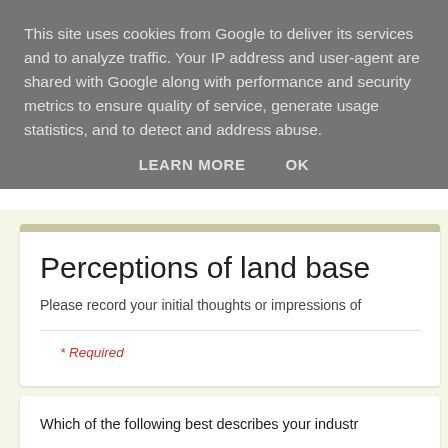This site uses cookies from Google to deliver its services and to analyze traffic. Your IP address and user-agent are shared with Google along with performance and security metrics to ensure quality of service, generate usage statistics, and to detect and address abuse.
LEARN MORE   OK
Perceptions of land base
Please record your initial thoughts or impressions of
* Required
Which of the following best describes your industr